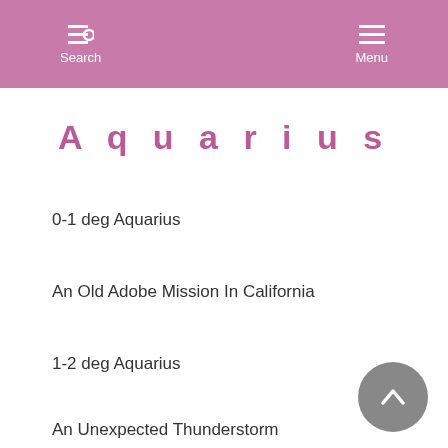Search  Menu
Aquarius
0-1 deg Aquarius
An Old Adobe Mission In California
1-2 deg Aquarius
An Unexpected Thunderstorm